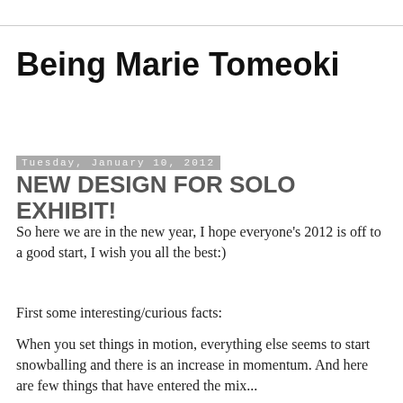Being Marie Tomeoki
Tuesday, January 10, 2012
NEW DESIGN FOR SOLO EXHIBIT!
So here we are in the new year, I hope everyone's 2012 is off to a good start, I wish you all the best:)
First some interesting/curious facts:
When you set things in motion, everything else seems to start snowballing and there is an increase in momentum.  And here are few things that have entered the mix...